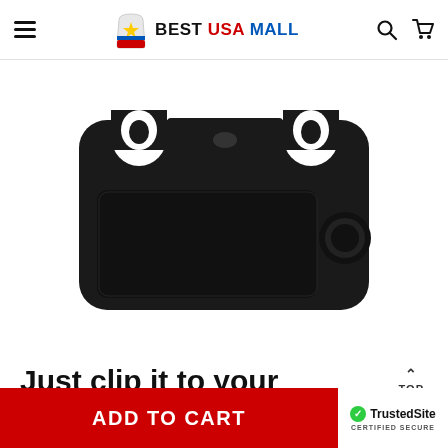BEST USA MALL
[Figure (photo): Black plastic car steering wheel desk tray with two clip hooks at the top, a flat work surface area, and a circular cup holder on the right side.]
Just clip it to your
ADD TO CART | TrustedSite CERTIFIED SECURE